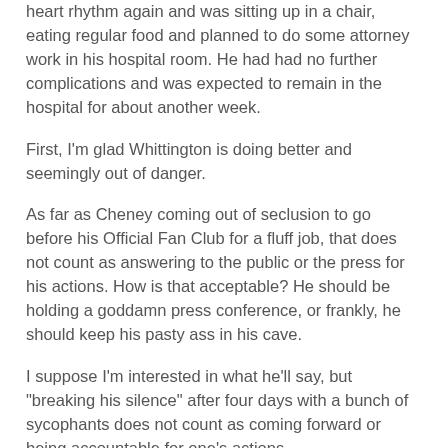heart rhythm again and was sitting up in a chair, eating regular food and planned to do some attorney work in his hospital room. He had had no further complications and was expected to remain in the hospital for about another week.
First, I'm glad Whittington is doing better and seemingly out of danger.
As far as Cheney coming out of seclusion to go before his Official Fan Club for a fluff job, that does not count as answering to the public or the press for his actions. How is that acceptable? He should be holding a goddamn press conference, or frankly, he should keep his pasty ass in his cave.
I suppose I'm interested in what he'll say, but "breaking his silence" after four days with a bunch of sycophants does not count as coming forward or being accountable for one's actions.